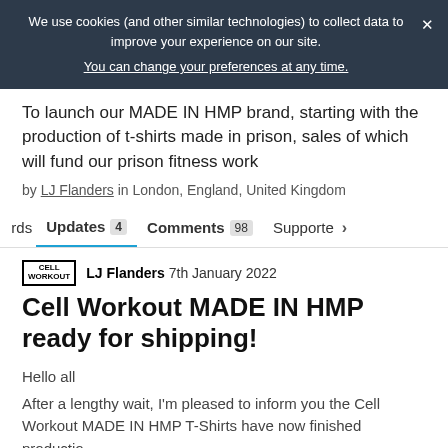We use cookies (and other similar technologies) to collect data to improve your experience on our site. You can change your preferences at any time.
To launch our MADE IN HMP brand, starting with the production of t-shirts made in prison, sales of which will fund our prison fitness work
by LJ Flanders in London, England, United Kingdom
< rds  Updates 4  Comments 98  Supporters >
CELL WORKOUT  LJ Flanders 7th January 2022
Cell Workout MADE IN HMP ready for shipping!
Hello all
After a lengthy wait, I'm pleased to inform you the Cell Workout MADE IN HMP T-Shirts have now finished productio